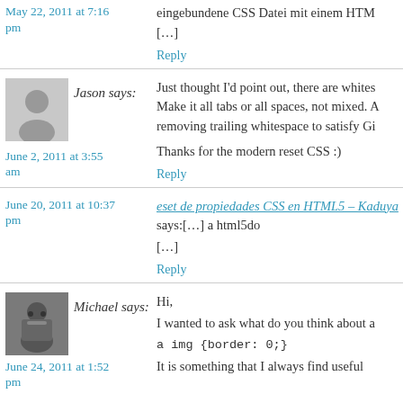May 22, 2011 at 7:16 pm
eingebundene CSS Datei mit einem HTM
[…]
Reply
Jason says:
Just thought I'd point out, there are whites
Make it all tabs or all spaces, not mixed. A
removing trailing whitespace to satisfy Gi
June 2, 2011 at 3:55 am
Thanks for the modern reset CSS :)
Reply
eset de propiedades CSS en HTML5 – Kaduya says:[…] a html5do
June 20, 2011 at 10:37 pm
[…]
Reply
Michael says:
Hi,
I wanted to ask what do you think about a
June 24, 2011 at 1:52 pm
a img {border: 0;}
It is something that I always find useful